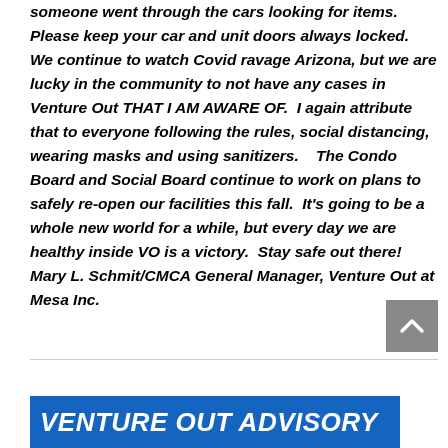someone went through the cars looking for items.  Please keep your car and unit doors always locked.  We continue to watch Covid ravage Arizona, but we are lucky in the community to not have any cases in Venture Out THAT I AM AWARE OF.  I again attribute that to everyone following the rules, social distancing, wearing masks and using sanitizers.    The Condo Board and Social Board continue to work on plans to safely re-open our facilities this fall.  It's going to be a whole new world for a while, but every day we are healthy inside VO is a victory.  Stay safe out there!  Mary L. Schmit/CMCA General Manager, Venture Out at Mesa Inc.
[Figure (other): Gray scroll-to-top button with upward-pointing chevron arrow]
VENTURE OUT ADVISORY